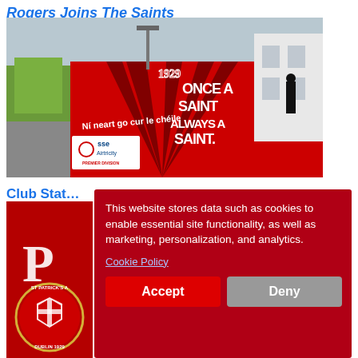Rogers Joins The Saints
[Figure (photo): Exterior wall mural of St Patrick's Athletic football club grounds with 'ONCE A SAINT ALWAYS A SAINT' mural and SSE Airtricity Premier Division signage]
Club Stat…
[Figure (photo): St Patrick's Athletic club badge/crest on red background]
This website stores data such as cookies to enable essential site functionality, as well as marketing, personalization, and analytics.
Cookie Policy
Accept
Deny